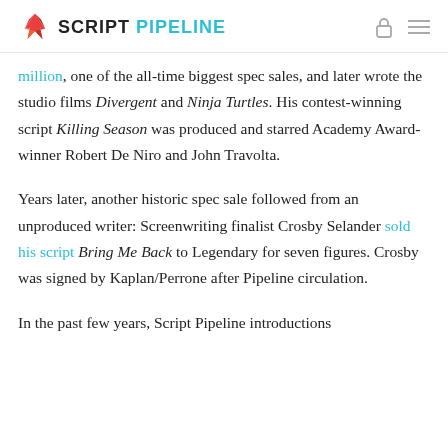SCRIPT PIPELINE
million, one of the all-time biggest spec sales, and later wrote the studio films Divergent and Ninja Turtles. His contest-winning script Killing Season was produced and starred Academy Award-winner Robert De Niro and John Travolta.
Years later, another historic spec sale followed from an unproduced writer: Screenwriting finalist Crosby Selander sold his script Bring Me Back to Legendary for seven figures. Crosby was signed by Kaplan/Perrone after Pipeline circulation.
In the past few years, Script Pipeline introductions